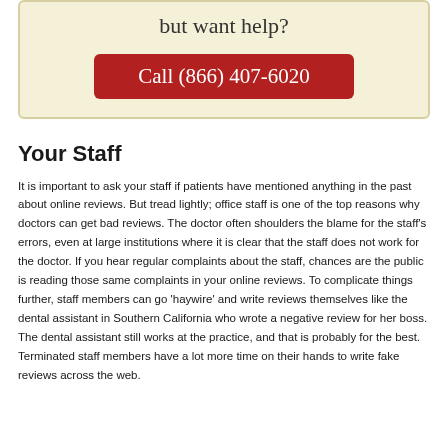but want help?
Call (866) 407-6020
Your Staff
It is important to ask your staff if patients have mentioned anything in the past about online reviews. But tread lightly; office staff is one of the top reasons why doctors can get bad reviews. The doctor often shoulders the blame for the staff’s errors, even at large institutions where it is clear that the staff does not work for the doctor. If you hear regular complaints about the staff, chances are the public is reading those same complaints in your online reviews. To complicate things further, staff members can go ‘haywire’ and write reviews themselves like the dental assistant in Southern California who wrote a negative review for her boss. The dental assistant still works at the practice, and that is probably for the best. Terminated staff members have a lot more time on their hands to write fake reviews across the web.